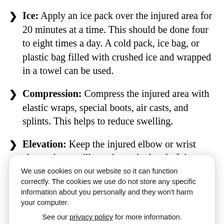Ice: Apply an ice pack over the injured area for 20 minutes at a time. This should be done four to eight times a day. A cold pack, ice bag, or plastic bag filled with crushed ice and wrapped in a towel can be used.
Compression: Compress the injured area with elastic wraps, special boots, air casts, and splints. This helps to reduce swelling.
Elevation: Keep the injured elbow or wrist elevated on a pillow, above the level of the heart. This is to help decrease swelling.
Your doctor may recommend other treatments to help your injury heal
Nonsteroidal Anti-inflammatory Drugs
Nonsteroidal anti-inflammatory drug (NSAID) such as aspirin, ibuprofen, ketoprofen, or naproxen sodium
We use cookies on our website so it can function correctly. The cookies we use do not store any specific information about you personally and they won't harm your computer.

See our privacy policy for more information.